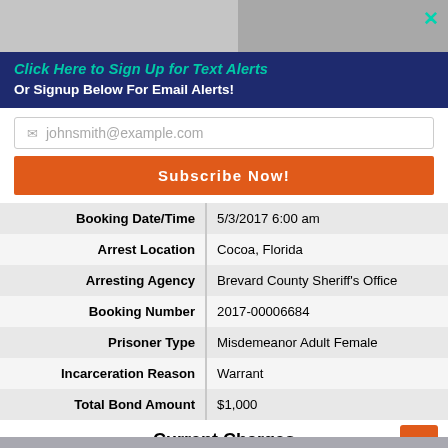[Figure (screenshot): Top image bar with gray block on left, photo on right, and teal X close button]
Click Here to Sign Up for Text Alerts
Or Signup Below For Email Alerts!
johnsmith@example.com (placeholder email input)
Subscribe Now!
| Field | Value |
| --- | --- |
| Booking Date/Time | 5/3/2017 6:00 am |
| Arrest Location | Cocoa, Florida |
| Arresting Agency | Brevard County Sheriff's Office |
| Booking Number | 2017-00006684 |
| Prisoner Type | Misdemeanor Adult Female |
| Incarceration Reason | Warrant |
| Total Bond Amount | $1,000 |
Current Charges